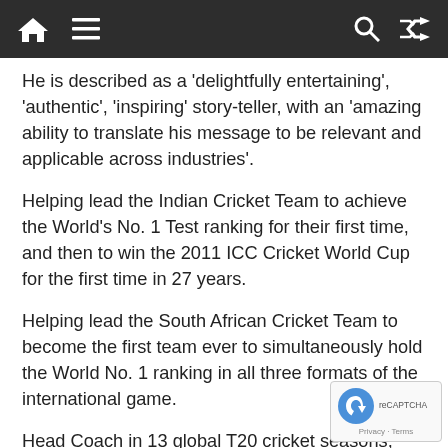Navigation bar with home, menu, search, and shuffle icons
He is described as a 'delightfully entertaining', 'authentic', 'inspiring' story-teller, with an 'amazing ability to translate his message to be relevant and applicable across industries'.
Helping lead the Indian Cricket Team to achieve the World's No. 1 Test ranking for their first time, and then to win the 2011 ICC Cricket World Cup for the first time in 27 years.
Helping lead the South African Cricket Team to become the first team ever to simultaneously hold the World No. 1 ranking in all three formats of the international game.
Head Coach in 13 global T20 cricket seasons, five different teams in three of the worlds'